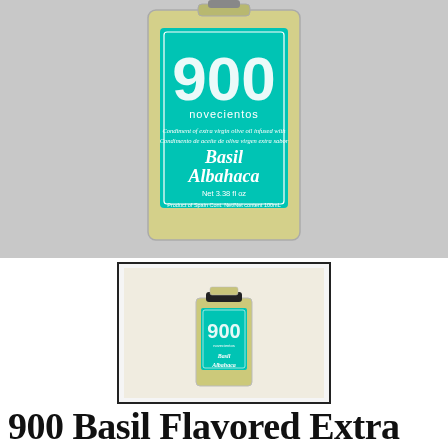[Figure (photo): Close-up photo of a 900 Novecientos Basil Albahaca extra virgin olive oil bottle with teal/turquoise label showing the number 900, brand name, product description in English and Spanish, and net contents 3.38 fl oz / 100ml. Product of Spain.]
[Figure (photo): Thumbnail photo of the same 900 Novecientos Basil Albahaca extra virgin olive oil bottle, full bottle view with black cap, teal label, inside a black-bordered box.]
900 Basil Flavored Extra